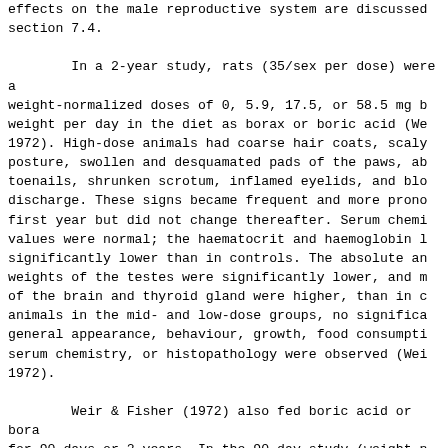effects on the male reproductive system are discussed section 7.4.

        In a 2-year study, rats (35/sex per dose) were a weight-normalized doses of 0, 5.9, 17.5, or 58.5 mg b weight per day in the diet as borax or boric acid (We 1972). High-dose animals had coarse hair coats, scaly posture, swollen and desquamated pads of the paws, ab toenails, shrunken scrotum, inflamed eyelids, and blo discharge. These signs became frequent and more prono first year but did not change thereafter. Serum chemi values were normal; the haematocrit and haemoglobin l significantly lower than in controls. The absolute an weights of the testes were significantly lower, and m of the brain and thyroid gland were higher, than in c animals in the mid- and low-dose groups, no significa general appearance, behaviour, growth, food consumpti serum chemistry, or histopathology were observed (Wei 1972).

        Weir & Fisher (1972) also fed boric acid or bora for 90 days or 2 years. In the 90-day study (weight-n of 0, 0.44, 4.38, or 43.75 mg boron/kg body weight pe 5 animals/sex per dose), testicular effects were obse the two highest dose groups. In the boric acid study, was significantly lower than controls in the middle- groups (reduced by 25% and 40%, respectively). Altho microscopic structure was not detectably abnormal in middle-dose group, 4 of 5 dogs in the high-dose group atrophy, and the remaining high-dose dog had one-thi